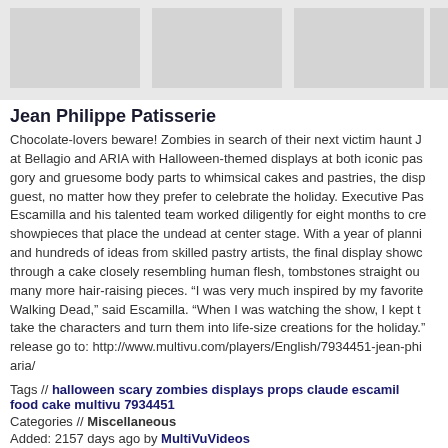[Figure (photo): Three thumbnail image placeholders in a row at the top]
Jean Philippe Patisserie
Chocolate-lovers beware! Zombies in search of their next victim haunt J at Bellagio and ARIA with Halloween-themed displays at both iconic pas gory and gruesome body parts to whimsical cakes and pastries, the disp guest, no matter how they prefer to celebrate the holiday. Executive Pas Escamilla and his talented team worked diligently for eight months to cre showpieces that place the undead at center stage. With a year of planni and hundreds of ideas from skilled pastry artists, the final display showc through a cake closely resembling human flesh, tombstones straight ou many more hair-raising pieces. “I was very much inspired by my favorite Walking Dead,” said Escamilla. “When I was watching the show, I kept t take the characters and turn them into life-size creations for the holiday. release go to: http://www.multivu.com/players/English/7934451-jean-phi aria/
Tags // halloween scary zombies displays props claude escamil food cake multivu 7934451
Categories // Miscellaneous
Added: 2157 days ago by MultiVuVideos
Runtime: 1m5s | Views: 437 | Comments: 0
Not yet rated
[Figure (photo): Three thumbnail image placeholders in a row at the bottom]